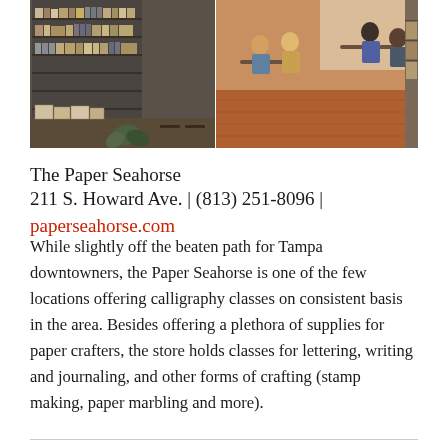[Figure (photo): Two-panel photo of The Paper Seahorse store: left panel shows shelving unit with paper crafting supplies and storage boxes on a counter; right panel shows customers seated at tables in a bright area with wood floors.]
The Paper Seahorse
211 S. Howard Ave. | (813) 251-8096 | paperseahorse.com
While slightly off the beaten path for Tampa downtowners, the Paper Seahorse is one of the few locations offering calligraphy classes on consistent basis in the area. Besides offering a plethora of supplies for paper crafters, the store holds classes for lettering, writing and journaling, and other forms of crafting (stamp making, paper marbling and more).